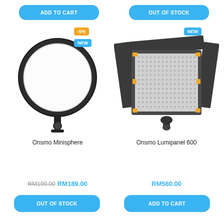ADD TO CART
OUT OF STOCK
[Figure (photo): Onsmo Minisphere round LED light panel on a small stand/mount, with -5% discount badge and NEW badge]
[Figure (photo): Onsmo Lumipanel 600 rectangular LED panel light with barn doors and yellow accent clips, with NEW badge]
Onsmo Minisphere
Onsmo Lumipanel 600
RM199.00 RM189.00
RM580.00
OUT OF STOCK
ADD TO CART